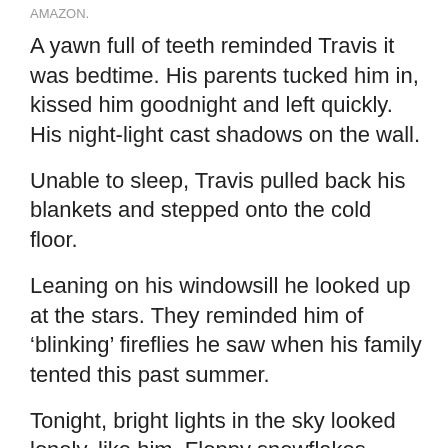AMAZON.
A yawn full of teeth reminded Travis it was bedtime. His parents tucked him in, kissed him goodnight and left quickly. His night-light cast shadows on the wall.
Unable to sleep, Travis pulled back his blankets and stepped onto the cold floor.
Leaning on his windowsill he looked up at the stars. They reminded him of ‘blinking’ fireflies he saw when his family tented this past summer.
Tonight, bright lights in the sky looked lonely, like him. Floppy snowflakes began to fall.
Suddenly he saw a ball of movement by the swings. “It...looks...like...a little kitten,” Travis said slowly. The poor creature might freeze if it